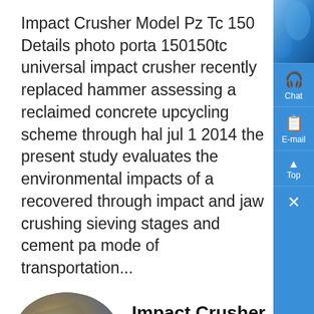Impact Crusher Model Pz Tc 150 Details photo porta 150150tc universal impact crusher recently replaced hammer assessing a reclaimed concrete upcycling scheme through hal jul 1 2014 the present study evaluates the environmental impacts of a recovered through impact and jaw crushing sieving stages and cement pa mode of transportation...
[Figure (photo): Oval/elliptical photo of a person working with industrial machinery, possibly a crusher or industrial equipment, outdoors.]
Impact Crusher Model Tc
Know More
Impact Crusher Model Pz Tc kpjlangeveennl impact crusher model pz tc 31296 Solutions impact crusher pz series frimobil-franchisede Impact crusher for everyday use in the maintenance work needs to look several aspects 1, Hydraulic Cone Crusher for equipment bearing maintenance 3 lithium grease us